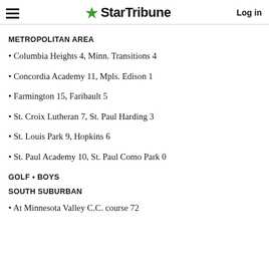StarTribune
METROPOLITAN AREA
Columbia Heights 4, Minn. Transitions 4
Concordia Academy 11, Mpls. Edison 1
Farmington 15, Faribault 5
St. Croix Lutheran 7, St. Paul Harding 3
St. Louis Park 9, Hopkins 6
St. Paul Academy 10, St. Paul Como Park 0
GOLF • BOYS
SOUTH SUBURBAN
At Minnesota Valley C.C. course 72